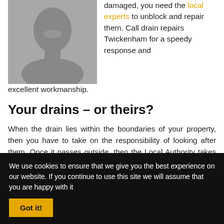[Figure (photo): Black and white photo of a smiling man, cropped from shoulders up]
damaged, you need the local experts to unblock and repair them. Call drain repairs Twickenham for a speedy response and excellent workmanship.
Your drains – or theirs?
When the drain lies within the boundaries of your property, then you have to take on the responsibility of looking after them. Once it passes outside, then the Local Authority takes them on. Usually, this is clear cut.
We use cookies to ensure that we give you the best experience on our website. If you continue to use this site we will assume that you are happy with it